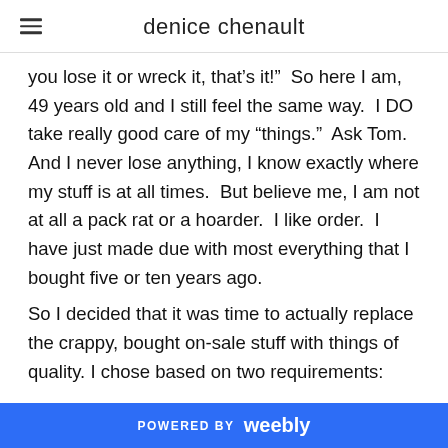denice chenault
you lose it or wreck it, that’s it!”  So here I am, 49 years old and I still feel the same way.  I DO take really good care of my “things.”  Ask Tom.  And I never lose anything, I know exactly where my stuff is at all times.  But believe me, I am not at all a pack rat or a hoarder.  I like order.  I have just made due with most everything that I bought five or ten years ago.
So I decided that it was time to actually replace the crappy, bought on-sale stuff with things of quality. I chose based on two requirements:
POWERED BY weebly